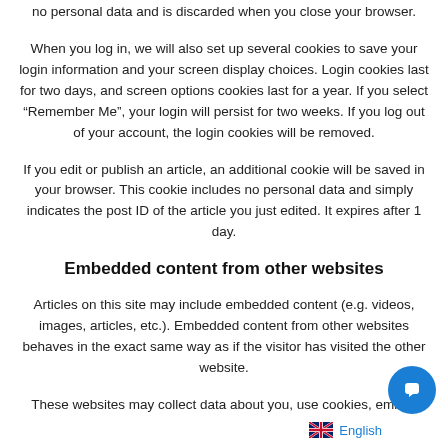no personal data and is discarded when you close your browser.
When you log in, we will also set up several cookies to save your login information and your screen display choices. Login cookies last for two days, and screen options cookies last for a year. If you select “Remember Me”, your login will persist for two weeks. If you log out of your account, the login cookies will be removed.
If you edit or publish an article, an additional cookie will be saved in your browser. This cookie includes no personal data and simply indicates the post ID of the article you just edited. It expires after 1 day.
Embedded content from other websites
Articles on this site may include embedded content (e.g. videos, images, articles, etc.). Embedded content from other websites behaves in the exact same way as if the visitor has visited the other website.
These websites may collect data about you, use cookies, embed